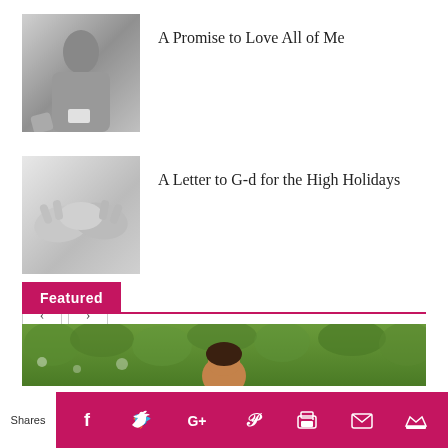[Figure (photo): Grayscale photo of a person, upper body, grey tones]
A Promise to Love All of Me
[Figure (photo): Black and white photo of hands clasped together]
A Letter to G-d for the High Holidays
Featured
[Figure (photo): Color photo of a person outdoors with green foliage background]